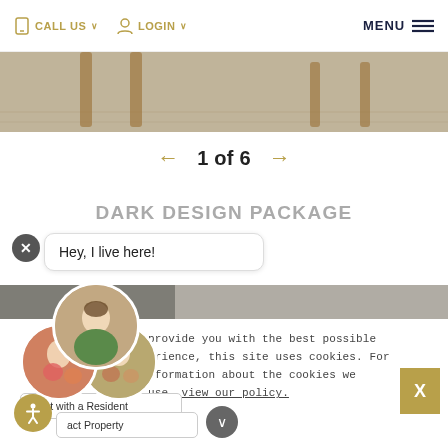CALL US  LOGIN  MENU
[Figure (photo): Top portion of a room interior showing wooden furniture legs on a grey floor]
1 of 6
DARK DESIGN PACKAGE
[Figure (screenshot): Chat overlay with X close button and speech bubble saying 'Hey, I live here!' with resident profile photos and chat with a resident button]
provide you with the best possible erience, this site uses cookies. For nformation about the cookies we use, view our policy.